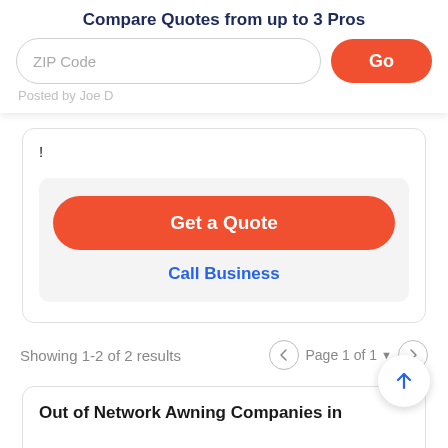Compare Quotes from up to 3 Pros
ZIP Code
Go
Posted by Joe D
!
Get a Quote
Call Business
Showing 1-2 of 2 results
Page 1 of 1
Out of Network Awning Companies in